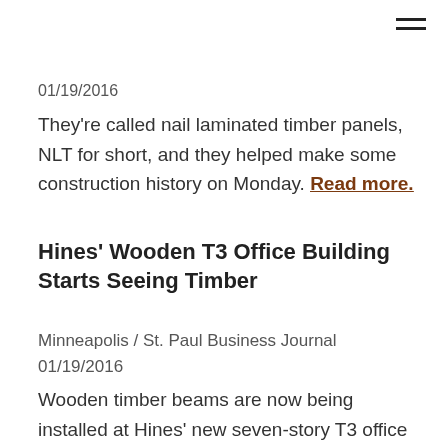01/19/2016
They're called nail laminated timber panels, NLT for short, and they helped make some construction history on Monday. Read more.
Hines' Wooden T3 Office Building Starts Seeing Timber
Minneapolis / St. Paul Business Journal
01/19/2016
Wooden timber beams are now being installed at Hines' new seven-story T3 office building near Target Field in Minneapolis. The project is one of